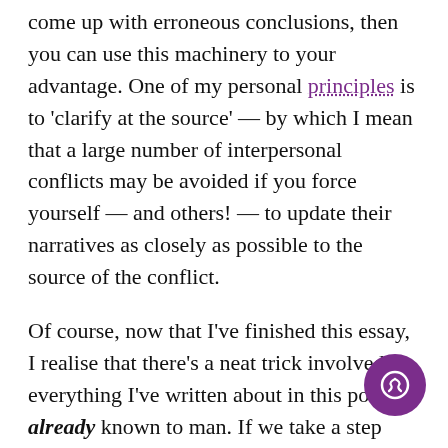come up with erroneous conclusions, then you can use this machinery to your advantage. One of my personal principles is to 'clarify at the source' — by which I mean that a large number of interpersonal conflicts may be avoided if you force yourself — and others! — to update their narratives as closely as possible to the source of the conflict.
Of course, now that I've finished this essay, I realise that there's a neat trick involved: everything I've written about in this post is already known to man. If we take a step back and squint our eyes at the topic a little, what I'm saying is nothing more nor less than 'first impressions matter, so make them count'.
On one hand, this makes me a little disappointed